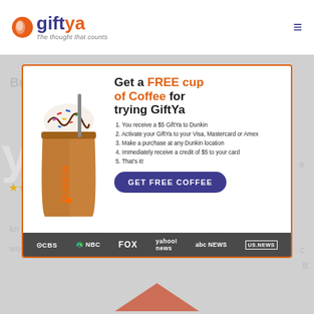[Figure (logo): GiftYa logo with orange coin icon, blue 'gift' and orange 'ya' text, tagline 'The thought that counts']
[Figure (infographic): GiftYa promotional modal ad: Dunkin coffee cup image on left, text 'Get a FREE cup of Coffee for trying GiftYa' with 5 numbered steps and 'GET FREE COFFEE' button, media logos bar at bottom (CBS, NBC, FOX, yahoo! news, abc NEWS, US.NEWS)]
Get a FREE cup of Coffee for trying GiftYa
1. You receive a $5 GiftYa to Dunkin
2. Activate your GiftYa to your Visa, Mastercard or Amex
3. Make a purchase at any Dunkin location
4. Immediately receive a credit of $5 to your card
5. That's it!